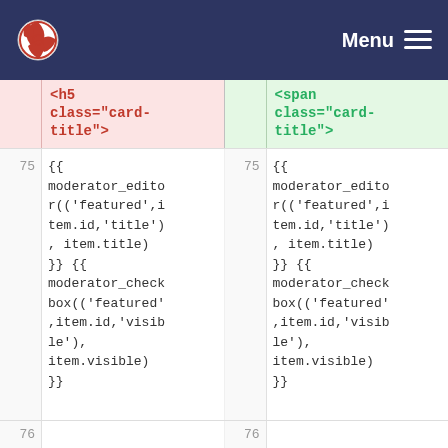Menu
| <h5 class="card-title"> | <span class="card-title"> |
| --- | --- |
| 75 | {{ moderator_editor(('featured',item.id,'title') , item.title) }} {{ moderator_checkbox(('featured',item.id,'visible'), item.visible) }} | 75 | {{ moderator_editor(('featured',item.id,'title') , item.title) }} {{ moderator_checkbox(('featured',item.id,'visible'), item.visible) }} |
| 76 |  | 76 |  |